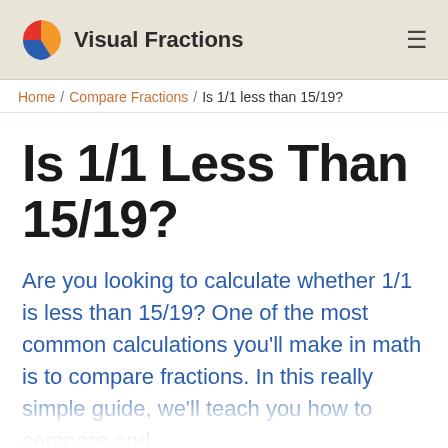Visual Fractions
Home / Compare Fractions / Is 1/1 less than 15/19?
Is 1/1 Less Than 15/19?
Are you looking to calculate whether 1/1 is less than 15/19? One of the most common calculations you'll make in math is to compare fractions. In this really simple guide, we'll teach you how to compare and